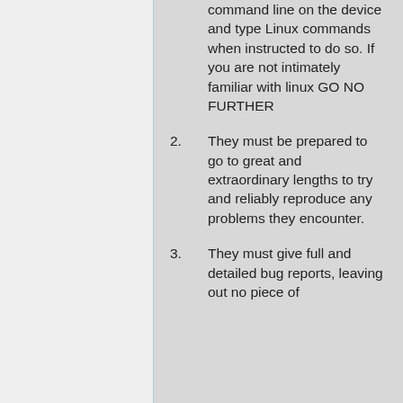command line on the device and type Linux commands when instructed to do so. If you are not intimately familiar with linux GO NO FURTHER
2. They must be prepared to go to great and extraordinary lengths to try and reliably reproduce any problems they encounter.
3. They must give full and detailed bug reports, leaving out no piece of